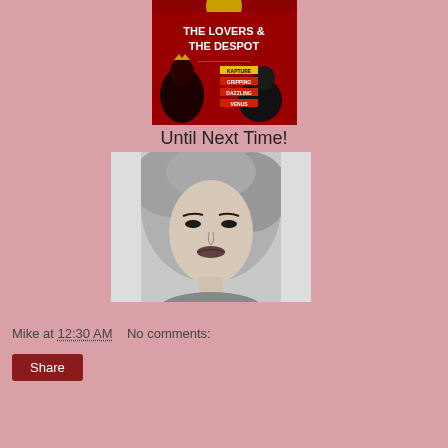[Figure (photo): Movie poster for 'The Lovers & The Despot' — red background with two figures and bold yellow/white title text]
Until Next Time!
[Figure (photo): Black and white portrait photograph of a woman with vintage 1940s curled hairstyle, looking slightly to one side]
Mike at 12:30 AM    No comments:
Share